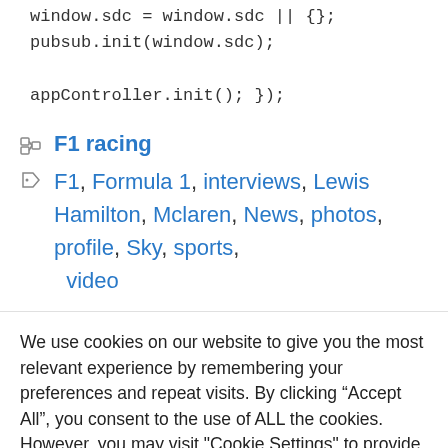window.sdc = window.sdc || {};
pubsub.init(window.sdc);

appController.init(); });
F1 racing
F1, Formula 1, interviews, Lewis Hamilton, Mclaren, News, photos, profile, Sky, sports, video
We use cookies on our website to give you the most relevant experience by remembering your preferences and repeat visits. By clicking “Accept All”, you consent to the use of ALL the cookies. However, you may visit "Cookie Settings" to provide a controlled consent.